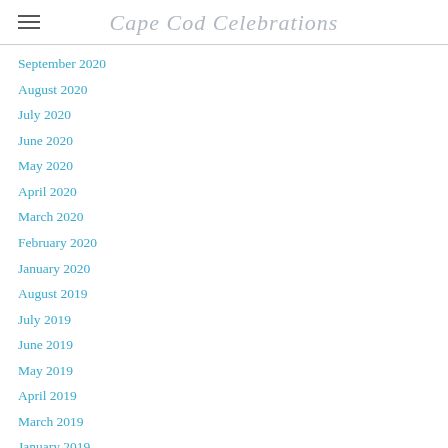Cape Cod Celebrations
September 2020
August 2020
July 2020
June 2020
May 2020
April 2020
March 2020
February 2020
January 2020
August 2019
July 2019
June 2019
May 2019
April 2019
March 2019
January 2019
August 2018
May 2018